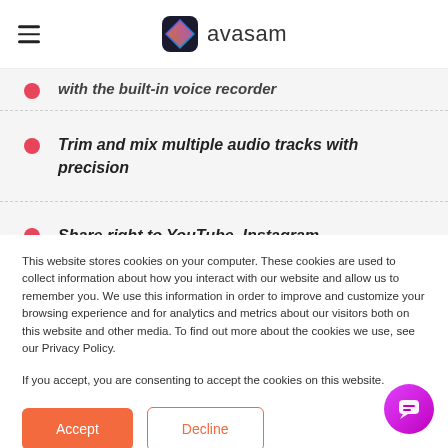[Figure (logo): Avasam logo with colorful geometric icon and hamburger menu]
with the built-in voice recorder
Trim and mix multiple audio tracks with precision
Share right to YouTube, Instagram
This website stores cookies on your computer. These cookies are used to collect information about how you interact with our website and allow us to remember you. We use this information in order to improve and customize your browsing experience and for analytics and metrics about our visitors both on this website and other media. To find out more about the cookies we use, see our Privacy Policy.
If you accept, you are consenting to accept the cookies on this website.